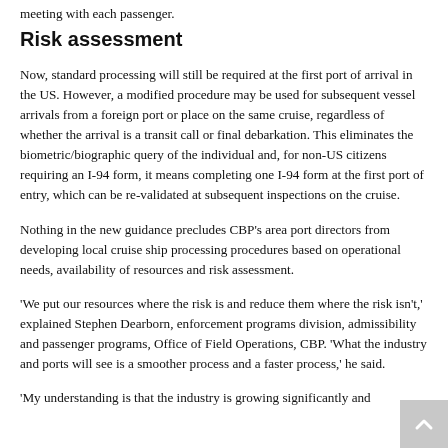meeting with each passenger.
Risk assessment
Now, standard processing will still be required at the first port of arrival in the US. However, a modified procedure may be used for subsequent vessel arrivals from a foreign port or place on the same cruise, regardless of whether the arrival is a transit call or final debarkation. This eliminates the biometric/biographic query of the individual and, for non-US citizens requiring an I-94 form, it means completing one I-94 form at the first port of entry, which can be re-validated at subsequent inspections on the cruise.
Nothing in the new guidance precludes CBP's area port directors from developing local cruise ship processing procedures based on operational needs, availability of resources and risk assessment.
'We put our resources where the risk is and reduce them where the risk isn't,' explained Stephen Dearborn, enforcement programs division, admissibility and passenger programs, Office of Field Operations, CBP. 'What the industry and ports will see is a smoother process and a faster process,' he said.
'My understanding is that the industry is growing significantly and